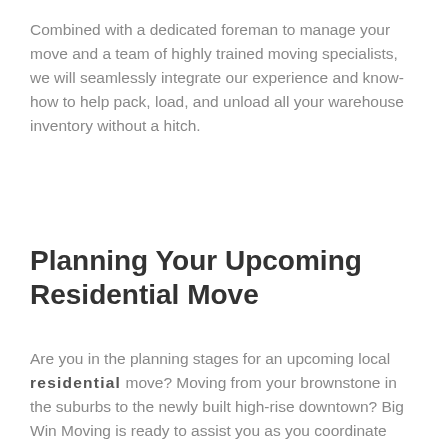Combined with a dedicated foreman to manage your move and a team of highly trained moving specialists, we will seamlessly integrate our experience and know-how to help pack, load, and unload all your warehouse inventory without a hitch.
Planning Your Upcoming Residential Move
Are you in the planning stages for an upcoming local residential move? Moving from your brownstone in the suburbs to the newly built high-rise downtown? Big Win Moving is ready to assist you as you coordinate with your local